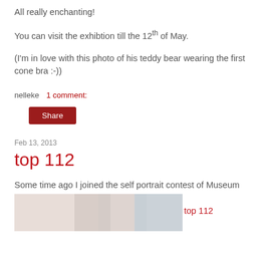All really enchanting!
You can visit the exhibtion till the 12th of May.
(I'm in love with this photo of his teddy bear wearing the first cone bra :-))
nelleke    1 comment:
Share
Feb 13, 2013
top 112
Some time ago I joined the self portrait contest of Museum Boymans in Rotterdam.
Last week I heard I'm in the selection of the top 112
From more than 1300 participants!
[Figure (photo): A partial photo strip visible at the bottom of the page, showing a light-colored/beige background with a partial portrait image.]